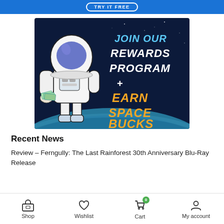[Figure (screenshot): Blue banner with 'TRY IT FREE' button in white outlined text]
[Figure (illustration): Rewards program banner showing an astronaut holding money cards against a dark space background with Earth horizon. Text reads JOIN OUR REWARDS PROGRAM + EARN SPACE BUCKS]
Recent News
Review – Ferngully: The Last Rainforest 30th Anniversary Blu-Ray Release
Shop  Wishlist  Cart  My account